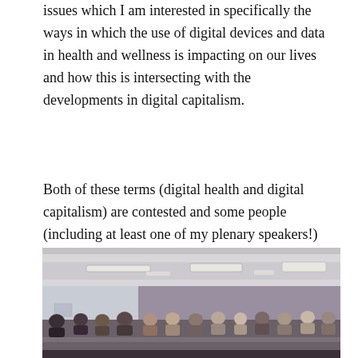issues which I am interested in specifically the ways in which the use of digital devices and data in health and wellness is impacting on our lives and how this is intersecting with the developments in digital capitalism.
Both of these terms (digital health and digital capitalism) are contested and some people (including at least one of my plenary speakers!) would oppose one or both of these concepts. Nevertheless, I believe that they are useful starting points for understanding recent and ongoing developments in health, the economy and society. The event was, I think, a fantastic day due to some really great and diverse speakers and a really engaged collection of participating delegates.
[Figure (photo): A photograph of a conference room with people seated at tables, fluorescent lighting fixtures on the ceiling, and a purple/grey wall in the background.]